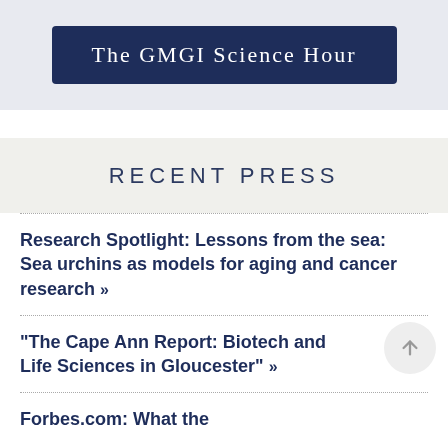The GMGI Science Hour
RECENT PRESS
Research Spotlight: Lessons from the sea: Sea urchins as models for aging and cancer research »
"The Cape Ann Report: Biotech and Life Sciences in Gloucester" »
Forbes.com: What the